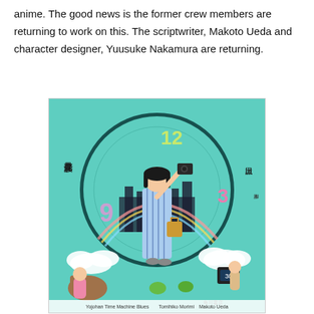anime. The good news is the former crew members are returning to work on this. The scriptwriter, Makoto Ueda and character designer, Yuusuke Nakamura are returning.
[Figure (illustration): Book cover of 'Yojohan Time Machine Blues' illustrated manga/novel cover featuring a girl in a striped robe holding a camera in the center, surrounded by colorful characters and a large clock face in teal/green background. Japanese text on the left reads the author name in vertical script. Numbers 12, 9, 3 appear like clock positions. Bottom text reads: Yojohan Time Machine Blues, Tomihiko Morimi, Makoto Ueda.]